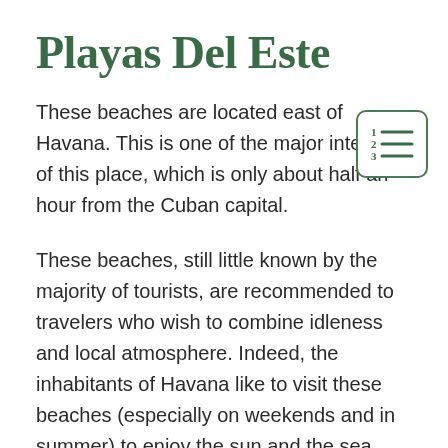Playas Del Este
[Figure (illustration): Table of contents icon — a numbered list icon (1, 2, 3 with horizontal lines) inside a rounded square border, in dark green color]
These beaches are located east of Havana. This is one of the major interests of this place, which is only about half an hour from the Cuban capital.
These beaches, still little known by the majority of tourists, are recommended to travelers who wish to combine idleness and local atmosphere. Indeed, the inhabitants of Havana like to visit these beaches (especially on weekends and in summer) to enjoy the sun and the sea.